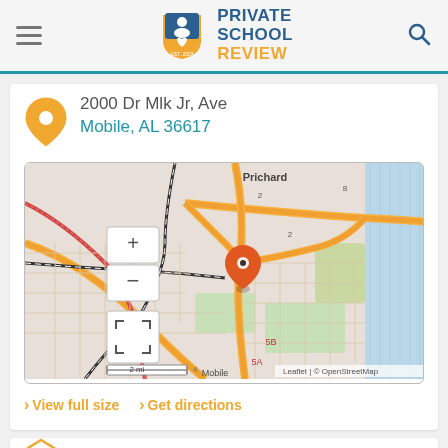Private School Review — navigation header with logo
2000 Dr Mlk Jr, Ave
Mobile, AL 36617
[Figure (map): OpenStreetMap leaflet map showing Mobile, AL area with orange location pin near 2000 Dr Mlk Jr Ave. Map shows Prichard area, roads US 90, US 98 Truck, US 45, highways 5B and 5A. Scale: 2 mi. Attribution: Leaflet | © OpenStreetMap]
> View full size  > Get directions